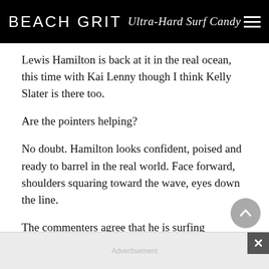BEACH GRIT Ultra-Hard Surf Candy
Lewis Hamilton is back at it in the real ocean, this time with Kai Lenny though I think Kelly Slater is there too.
Are the pointers helping?
No doubt. Hamilton looks confident, poised and ready to barrel in the real world. Face forward, shoulders squaring toward the wave, eyes down the line.
The commenters agree that he is surfing extraordinarily.
@shai_3355 writes, “You make it look easy!”
Advertisement